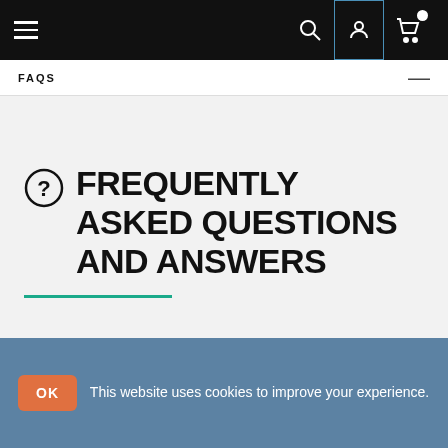Navigation bar with hamburger menu, search, account, and cart icons
FAQS
FREQUENTLY ASKED QUESTIONS AND ANSWERS
This website uses cookies to improve your experience.
We found other products you might like!